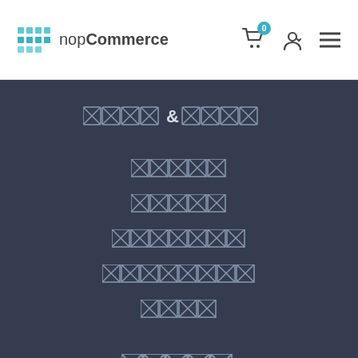nopCommerce - navigation header with cart icon (0), user icon, and menu icon
████ & █████
█████████
█████████
█████████████
██████████████
███████
███████